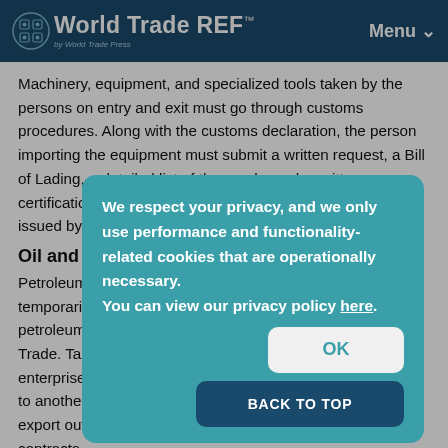World Trade REF™ by World Trade Press | Menu
Machinery, equipment, and specialized tools taken by the persons on entry and exit must go through customs procedures. Along with the customs declaration, the person importing the equipment must submit a written request, a Bill of Lading, a detailed list of the goods, and a written certification as to the work to be done using the equipment, issued by the agency or organization where the person is w[orking].
Oil and P[etroleum]
Petroleum [products] ... [may] be temporarily [imported] ... [for use i]n oil and petroleum [...] [Minist]ry of Trade. Tax [...] [Viet]namese enterprise[s] ... for resale to another [...] [l] export out[...] contracts.
We respect your privacy, and we only use performance and functionality-related cookies that are operationally necessary.
You can view our privacy policy here.
OK
BACK TO TOP